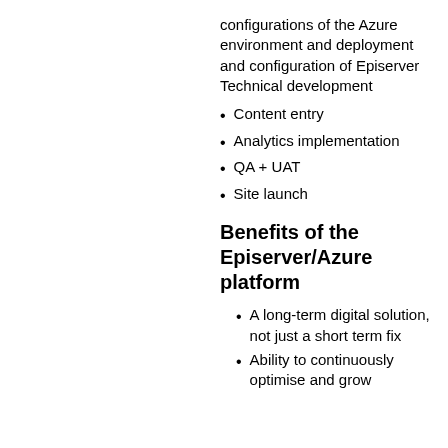configurations of the Azure environment and deployment and configuration of Episerver Technical development
Content entry
Analytics implementation
QA + UAT
Site launch
Benefits of the Episerver/Azure platform
A long-term digital solution, not just a short term fix
Ability to continuously optimise and grow